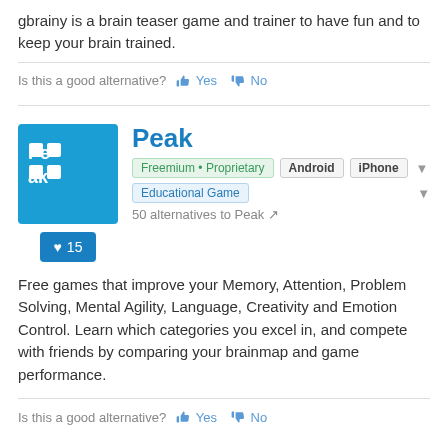gbrainy is a brain teaser game and trainer to have fun and to keep your brain trained.
Is this a good alternative? 👍 Yes 👎 No
Peak
Freemium • Proprietary   Android   iPhone
Educational Game
50 alternatives to Peak
♥ 15
Free games that improve your Memory, Attention, Problem Solving, Mental Agility, Language, Creativity and Emotion Control. Learn which categories you excel in, and compete with friends by comparing your brainmap and game performance.
Is this a good alternative? 👍 Yes 👎 No